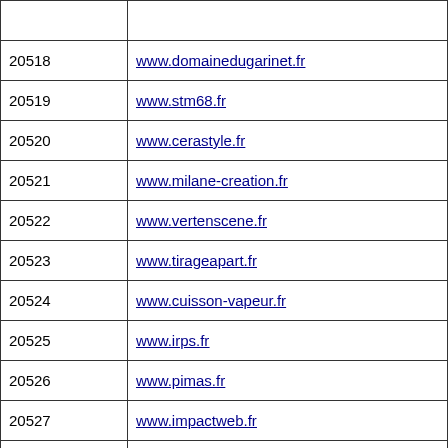| ID | URL |
| --- | --- |
|  |  |
| 20518 | www.domainedugarinet.fr |
| 20519 | www.stm68.fr |
| 20520 | www.cerastyle.fr |
| 20521 | www.milane-creation.fr |
| 20522 | www.vertenscene.fr |
| 20523 | www.tirageapart.fr |
| 20524 | www.cuisson-vapeur.fr |
| 20525 | www.irps.fr |
| 20526 | www.pimas.fr |
| 20527 | www.impactweb.fr |
| 20528 | www.premieraircourier.fr |
| 20529 | www.apasdeloulous.fr |
| 20530 | www.veto.fr |
| 20531 | www.peconsultant.fr |
| 20532 | www.co-crea.fr |